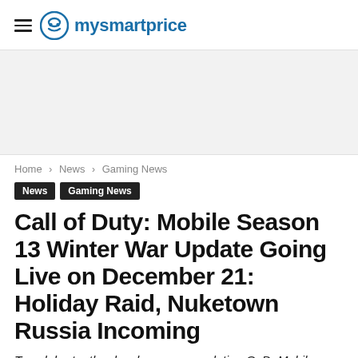mysmartprice
[Figure (other): Gray advertisement banner placeholder]
Home › News › Gaming News
News  Gaming News
Call of Duty: Mobile Season 13 Winter War Update Going Live on December 21: Holiday Raid, Nuketown Russia Incoming
To celebrate, the developers are updating CoD: Mobile